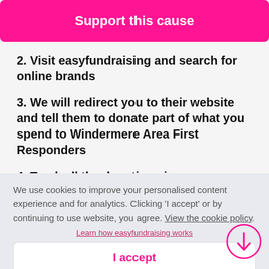Support this cause
2. Visit easyfundraising and search for online brands
3. We will redirect you to their website and tell them to donate part of what you spend to Windermere Area First Responders
4. Track all the donations in your account
We use cookies to improve your personalised content experience and for analytics. Clicking ‘I accept’ or by continuing to use website, you agree. View the cookie policy.
Search other causes
Learn how easyfundraising works
I accept